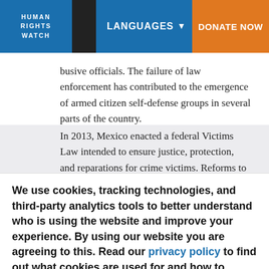HUMAN RIGHTS WATCH | LANGUAGES | DONATE NOW
busive officials. The failure of law enforcement has contributed to the emergence of armed citizen self-defense groups in several parts of the country.
In 2013, Mexico enacted a federal Victims Law intended to ensure justice, protection, and reparations for crime victims. Reforms to the law, intended to
We use cookies, tracking technologies, and third-party analytics tools to better understand who is using the website and improve your experience. By using our website you are agreeing to this. Read our privacy policy to find out what cookies are used for and how to change your settings.
Accept | Other options